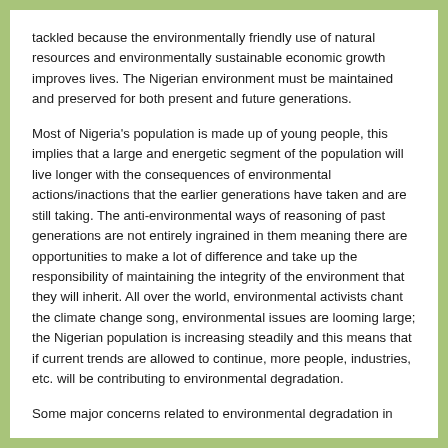tackled because the environmentally friendly use of natural resources and environmentally sustainable economic growth improves lives. The Nigerian environment must be maintained and preserved for both present and future generations.
Most of Nigeria's population is made up of young people, this implies that a large and energetic segment of the population will live longer with the consequences of environmental actions/inactions that the earlier generations have taken and are still taking. The anti-environmental ways of reasoning of past generations are not entirely ingrained in them meaning there are opportunities to make a lot of difference and take up the responsibility of maintaining the integrity of the environment that they will inherit. All over the world, environmental activists chant the climate change song, environmental issues are looming large; the Nigerian population is increasing steadily and this means that if current trends are allowed to continue, more people, industries, etc. will be contributing to environmental degradation.
Some major concerns related to environmental degradation in